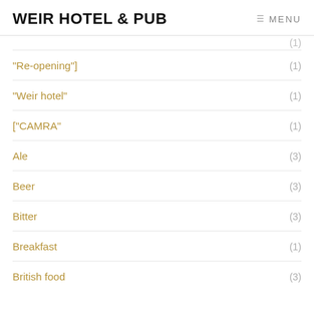WEIR HOTEL & PUB
"Re-opening"] (1)
"Weir hotel" (1)
["CAMRA" (1)
Ale (3)
Beer (3)
Bitter (3)
Breakfast (1)
British food (3)